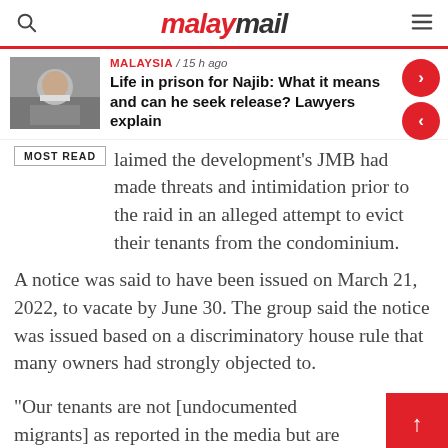malaymail
Life in prison for Najib: What it means and can he seek release? Lawyers explain
MALAYSIA / 15 h ago
laimed the development’s JMB had made threats and intimidation prior to the raid in an alleged attempt to evict their tenants from the condominium.
A notice was said to have been issued on March 21, 2022, to vacate by June 30. The group said the notice was issued based on a discriminatory house rule that many owners had strongly objected to.
“Our tenants are not [undocumented migrants] as reported in the media but are refugees,” the group said.
Most of the tenants are said to be refugees from